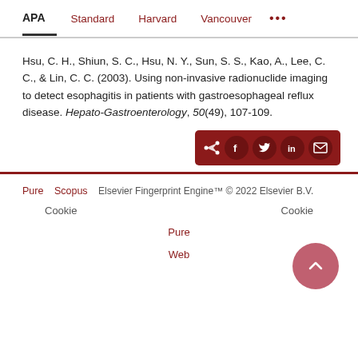APA | Standard | Harvard | Vancouver | ...
Hsu, C. H., Shiun, S. C., Hsu, N. Y., Sun, S. S., Kao, A., Lee, C. C., & Lin, C. C. (2003). Using non-invasive radionuclide imaging to detect esophagitis in patients with gastroesophageal reflux disease. Hepato-Gastroenterology, 50(49), 107-109.
Pure  Scopus  Elsevier Fingerprint Engine™ © 2022 Elsevier B.V.
Cookie                                    Cookie
Pure
Web